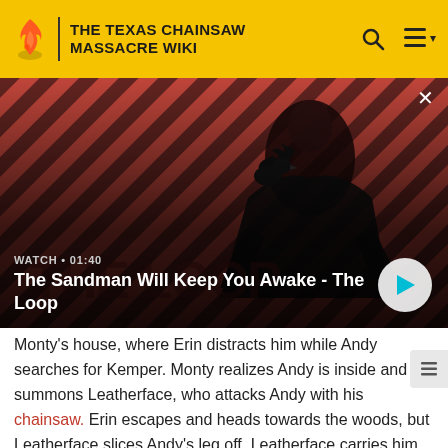THE TEXAS CHAINSAW MASSACRE WIKI
[Figure (screenshot): Video thumbnail showing a dark figure with a crow on his shoulder against a red and black diagonal striped background. Video title overlay reads 'The Sandman Will Keep You Awake - The Loop' with WATCH • 01:40 and a play button.]
Monty's house, where Erin distracts him while Andy searches for Kemper. Monty realizes Andy is inside and summons Leatherface, who attacks Andy with his chainsaw. Erin escapes and heads towards the woods, but Leatherface slices Andy's leg off. Leatherface carries him to the basement and hangs him on a meat hook with